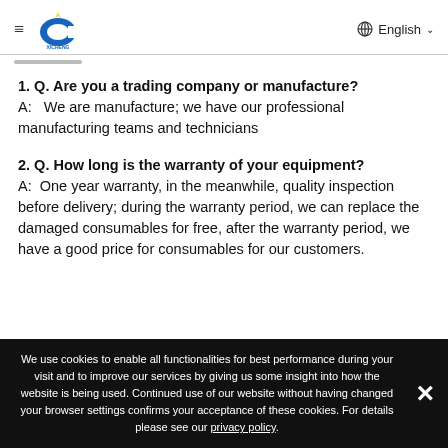≡ XICHENG logo | English
1. Q. Are you a trading company or manufacture?
A:   We are manufacture; we have our professional manufacturing teams and technicians
2. Q. How long is the warranty of your equipment?
A:  One year warranty, in the meanwhile, quality inspection before delivery; during the warranty period, we can replace the damaged consumables for free, after the warranty period, we have a good price for consumables for our customers.
We use cookies to enable all functionalities for best performance during your visit and to improve our services by giving us some insight into how the website is being used. Continued use of our website without having changed your browser settings confirms your acceptance of these cookies. For details please see our privacy policy.